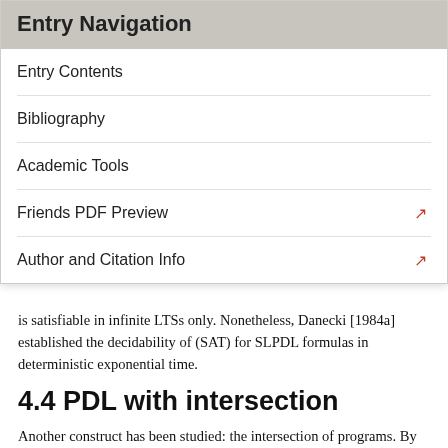Entry Navigation
Entry Contents
Bibliography
Academic Tools
Friends PDF Preview
Author and Citation Info
is satisfiable in infinite LTSs only. Nonetheless, Danecki [1984a] established the decidability of (SAT) for SLPDL formulas in deterministic exponential time.
4.4 PDL with intersection
Another construct has been studied: the intersection of programs. By adding intersection of programs to PDL, we obtain the logic IPDL. In IPDL, for all programs α, β, the expression α∩β stands for a new program with semantics